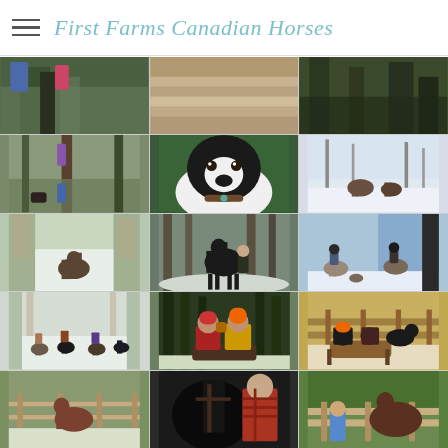First Farms Canadian Horses
[Figure (photo): Photo gallery grid showing farm and horse activities in winter. Row 1 (partial): children in woods, wooden fence/barn texture, dark forest scene. Row 2: children climbing a tree pole in woods with dog, close-up of Bernese Mountain Dog face, horses in snowy field. Row 3: horse in snowy wooded path, dark horse with handler in snowy forest, two riders on horseback in snowy field near barn. Row 4: group of riders on horses through snowy trail, two people on colorful sled in snowy woods, people sledding with dog. Row 5 (partial): horse in snowy paddock fence, person with dark horse close-up, child at wooden fence with horse.]